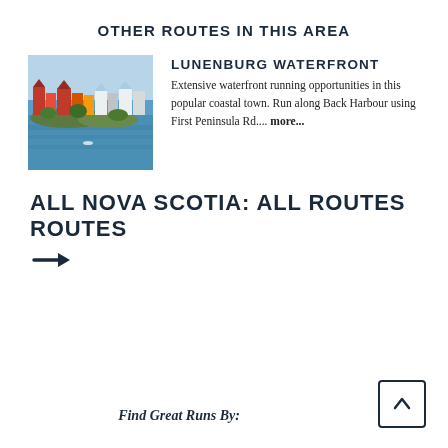OTHER ROUTES IN THIS AREA
[Figure (photo): Aerial/waterfront view of Lunenburg, Nova Scotia, showing colorful buildings along the harbour with blue water in the foreground]
LUNENBURG WATERFRONT
Extensive waterfront running opportunities in this popular coastal town. Run along Back Harbour using First Peninsula Rd.... more...
ALL NOVA SCOTIA: ALL ROUTES ROUTES
[Figure (other): Right-pointing arrow icon]
Find Great Runs By: